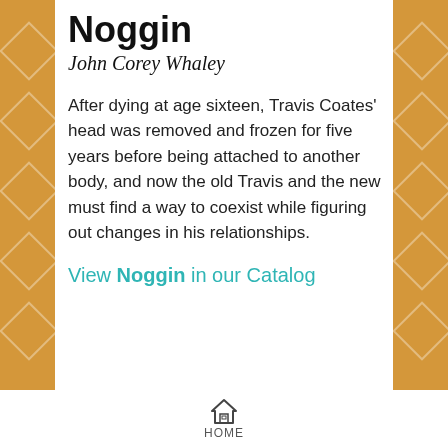Noggin
John Corey Whaley
After dying at age sixteen, Travis Coates' head was removed and frozen for five years before being attached to another body, and now the old Travis and the new must find a way to coexist while figuring out changes in his relationships.
View Noggin in our Catalog
[Figure (photo): Book cover of a young woman with brown hair, partially visible, with a title text overlay]
HOME